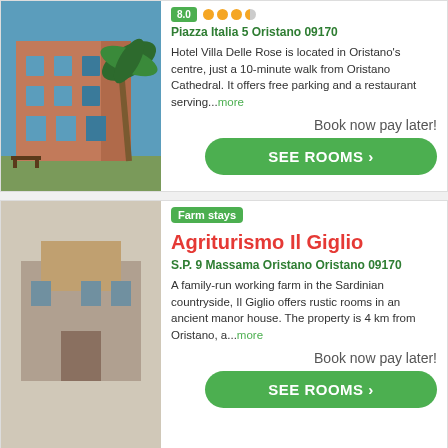[Figure (photo): Hotel Villa Delle Rose building exterior with palm trees, pink/terracotta facade, multiple floors with arched windows, sunny day]
Piazza Italia 5 Oristano 09170
Hotel Villa Delle Rose is located in Oristano's centre, just a 10-minute walk from Oristano Cathedral. It offers free parking and a restaurant serving...more
Book now pay later!
SEE ROOMS ›
Farm stays Agriturismo Il Giglio
S.P. 9 Massama Oristano Oristano 09170
A family-run working farm in the Sardinian countryside, Il Giglio offers rustic rooms in an ancient manor house. The property is 4 km from Oristano, a...more
Book now pay later!
SEE ROOMS ›